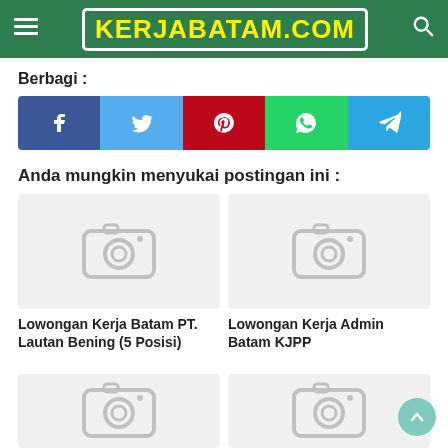KERJABATAM.COM
Berbagi :
[Figure (infographic): Social share buttons: Facebook, Twitter, Pinterest, WhatsApp, Telegram]
Anda mungkin menyukai postingan ini :
[Figure (photo): Placeholder image with camera icon for Lowongan Kerja Batam PT. Lautan Bening (5 Posisi)]
Lowongan Kerja Batam PT. Lautan Bening (5 Posisi)
[Figure (photo): Placeholder image with camera icon for Lowongan Kerja Admin Batam KJPP]
Lowongan Kerja Admin Batam KJPP
[Figure (photo): Placeholder image with camera icon (bottom left, partially visible)]
[Figure (photo): Placeholder image with camera icon (bottom right, partially visible)]